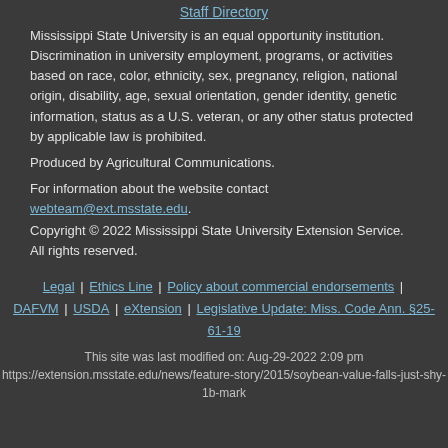Staff Directory
Mississippi State University is an equal opportunity institution. Discrimination in university employment, programs, or activities based on race, color, ethnicity, sex, pregnancy, religion, national origin, disability, age, sexual orientation, gender identity, genetic information, status as a U.S. veteran, or any other status protected by applicable law is prohibited.
Produced by Agricultural Communications.
For information about the website contact webteam@ext.msstate.edu.
Copyright © 2022 Mississippi State University Extension Service. All rights reserved.
Legal | Ethics Line | Policy about commercial endorsements | DAFVM | USDA | eXtension | Legislative Update: Miss. Code Ann. §25-61-19
This site was last modified on: Aug-29-2022 2:09 pm
https://extension.msstate.edu/news/feature-story/2015/soybean-value-falls-just-shy-1b-mark